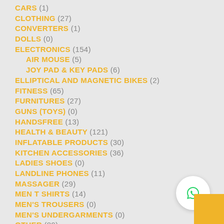CARS (1)
CLOTHING (27)
CONVERTERS (1)
DOLLS (0)
ELECTRONICS (154)
AIR MOUSE (5)
JOY PAD & KEY PADS (6)
ELLIPTICAL AND MAGNETIC BIKES (2)
FITNESS (65)
FURNITURES (27)
GUNS (TOYS) (0)
HANDSFREE (13)
HEALTH & BEAUTY (121)
INFLATABLE PRODUCTS (30)
KITCHEN ACCESSORIES (36)
LADIES SHOES (0)
LANDLINE PHONES (11)
MASSAGER (29)
MEN T SHIRTS (14)
MEN'S TROUSERS (0)
MEN'S UNDERGARMENTS (0)
OTHER (89)